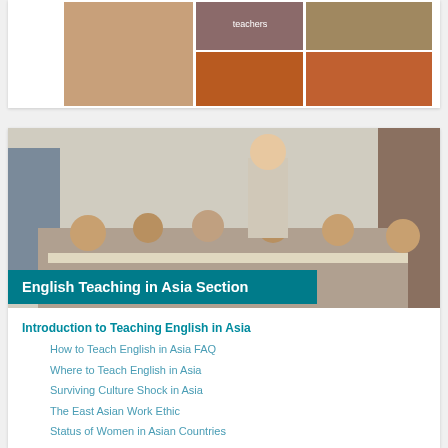[Figure (photo): Collage of photos showing people and Asian cultural scenes including a girl in traditional costume, a lit-up Asian temple/building at night, and group photos]
[Figure (photo): Classroom photo showing a Western male teacher standing over a group of young Asian children sitting at desks writing]
English Teaching in Asia Section
Introduction to Teaching English in Asia
How to Teach English in Asia FAQ
Where to Teach English in Asia
Surviving Culture Shock in Asia
The East Asian Work Ethic
Status of Women in Asian Countries
ESL Training Opportunities